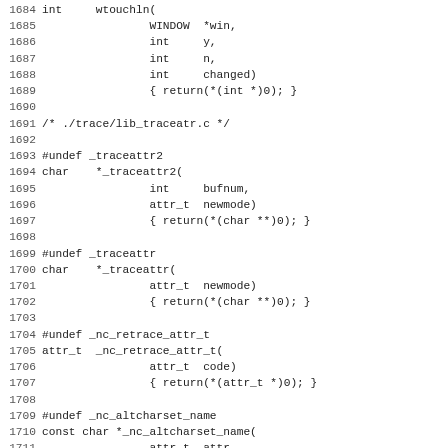Code listing lines 1684-1715, C source file stub implementations for ncurses functions: wtouchln, _traceattr2, _traceattr, _nc_retrace_attr_t, _nc_altcharset_name, tracechtype2
1684: int     wtouchln(
1685:                 WINDOW  *win,
1686:                 int     y,
1687:                 int     n,
1688:                 int     changed)
1689:                 { return(*(int *)0); }
1690:
1691: /* ./trace/lib_traceatr.c */
1692:
1693: #undef _traceattr2
1694: char    *_traceattr2(
1695:                 int     bufnum,
1696:                 attr_t  newmode)
1697:                 { return(*(char **)0); }
1698:
1699: #undef _traceattr
1700: char    *_traceattr(
1701:                 attr_t  newmode)
1702:                 { return(*(char **)0); }
1703:
1704: #undef _nc_retrace_attr_t
1705: attr_t  _nc_retrace_attr_t(
1706:                 attr_t  code)
1707:                 { return(*(attr_t *)0); }
1708:
1709: #undef _nc_altcharset_name
1710: const char *_nc_altcharset_name(
1711:                 attr_t  attr,
1712:                 chtype  ch)
1713:                 { return(*(const char **)0); }
1714:
1715: #undef  tracechtype2